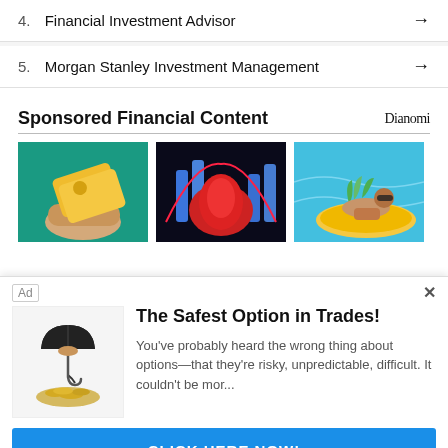4. Financial Investment Advisor →
5. Morgan Stanley Investment Management →
Sponsored Financial Content
[Figure (photo): Three sponsored content thumbnail images: gold card on hand (teal background), red blob with blue light bars (dark background), man on pool float (pool background)]
[Figure (other): Ad overlay: hand holding umbrella over coins. Title: The Safest Option in Trades! Description: You've probably heard the wrong thing about options—that they're risky, unpredictable, difficult. It couldn't be mor... CTA: CLICK HERE NOW!]